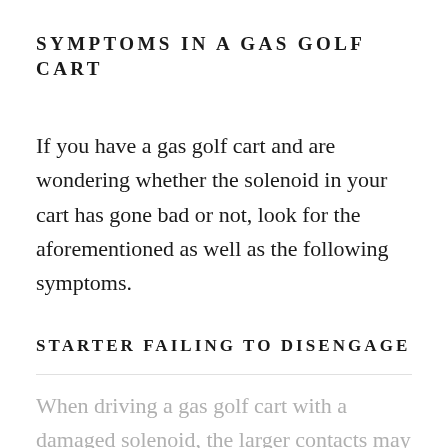SYMPTOMS IN A GAS GOLF CART
If you have a gas golf cart and are wondering whether the solenoid in your cart has gone bad or not, look for the aforementioned as well as the following symptoms.
STARTER FAILING TO DISENGAGE
When driving a gas golf cart with a damaged solenoid, the larger contacts may